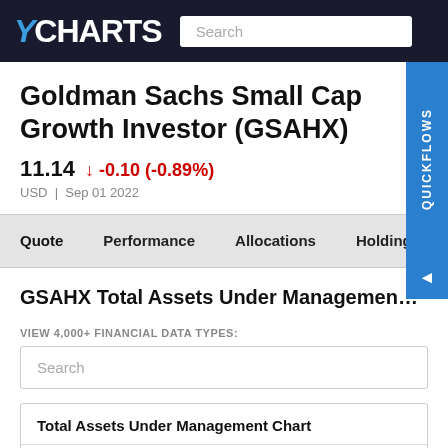YCHARTS
Goldman Sachs Small Cap Growth Investor (GSAHX)
11.14  ↓ -0.10 (-0.89%)
USD | Sep 01 2022
Quote   Performance   Allocations   Holdings   H◄
GSAHX Total Assets Under Management: 30.64M for S
VIEW 4,000+ FINANCIAL DATA TYPES:
Search
Total Assets Under Management Chart